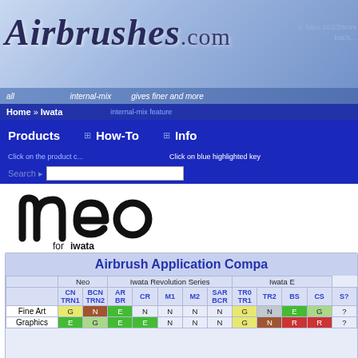Airbrushes.com
[Figure (screenshot): Airbrushes.com website navigation header with logo, breadcrumb (Home » Iwata), nav menu (Products, How-To, Info), and search bar]
[Figure (logo): neo for iwata logo in black]
|  | Neo (CN TRN1) | Neo (BCN TRN2) | AR BR | CR | M1 | M2 | SAR BCR | TR0 TR1 | TR2 | BS | CS | S? |
| --- | --- | --- | --- | --- | --- | --- | --- | --- | --- | --- | --- | --- |
| Fine Art | G | N | E | N | N | N | N | G | N | E | G | ? |
| Graphics | E | G | E | E | N | N | N | G | N | R | R | ? |